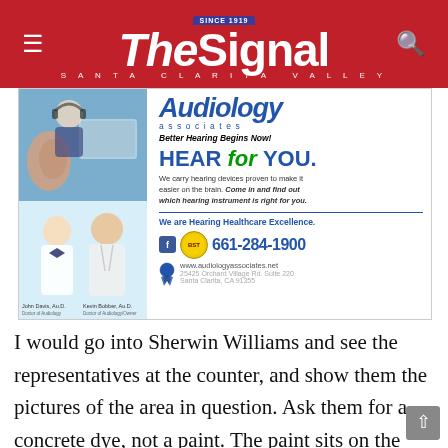The Signal — Santa Clarita Valley
[Figure (advertisement): Audiology Associates advertisement. 'Better Hearing Begins Now! HEAR for YOU. We carry hearing devices proven to make it easier on the brain. Come in and find out which hearing instrument is right for you. We are Hearing Healthcare Excellence. 661-284-1900. www.audiologyassociates.net. 25425 Orchard Village Rd. Suite 220, Santa Clarita, CA 91355. John Davis, Au.D., Kevin Bobber, Au.D.']
I would go into Sherwin Williams and see the representatives at the counter, and show them the pictures of the area in question. Ask them for a concrete dye, not a paint. The paint sits on the surface and will eventually fail at a higher rate than a dye, as the concrete is sitting on grade and